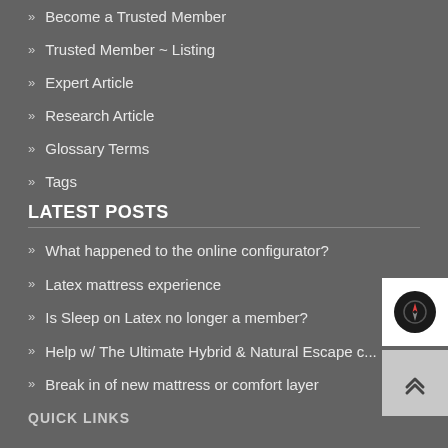» Become a Trusted Member
» Trusted Member ~ Listing
» Expert Article
» Research Article
» Glossary Terms
» Tags
LATEST POSTS
» What happened to the online configurator?
» Latex mattress experience
» Is Sleep on Latex no longer a member?
» Help w/ The Ultimate Hybrid & Natural Escape c...
» Break in of new mattress or comfort layer
QUICK LINKS